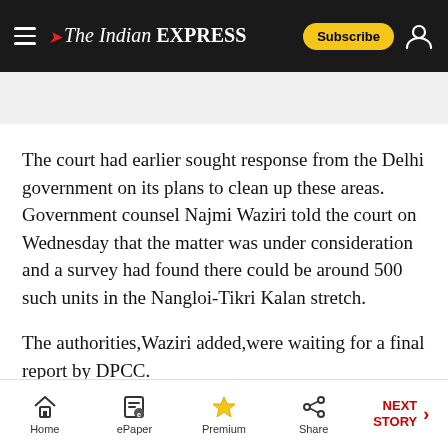The Indian EXPRESS — Subscribe
The court had earlier sought response from the Delhi government on its plans to clean up these areas. Government counsel Najmi Waziri told the court on Wednesday that the matter was under consideration and a survey had found there could be around 500 such units in the Nangloi-Tikri Kalan stretch.
The authorities,Waziri added,were waiting for a final report by DPCC.
Home | ePaper | Premium | Share | NEXT STORY